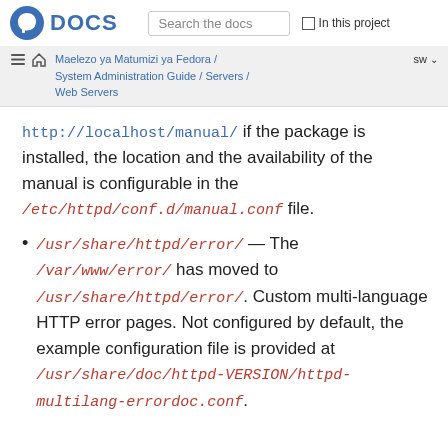DOCS | Search the docs | In this project
Maelezo ya Matumizi ya Fedora / System Administration Guide / Servers / Web Servers | sw
http://localhost/manual/ if the package is installed, the location and the availability of the manual is configurable in the /etc/httpd/conf.d/manual.conf file.
/usr/share/httpd/error/ — The /var/www/error/ has moved to /usr/share/httpd/error/. Custom multi-language HTTP error pages. Not configured by default, the example configuration file is provided at /usr/share/doc/httpd-VERSION/httpd-multilang-errordoc.conf.